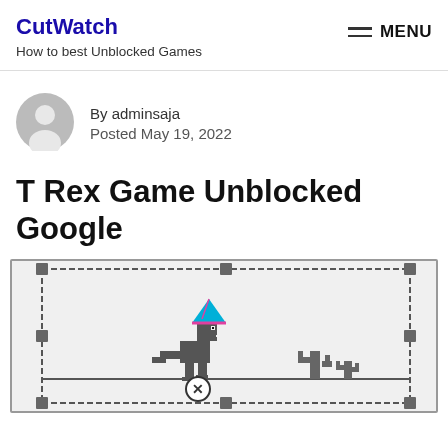CutWatch
How to best Unblocked Games
MENU
[Figure (illustration): Avatar placeholder icon — a gray circle with a white silhouette of a person]
By adminsaja
Posted May 19, 2022
T Rex Game Unblocked Google
[Figure (screenshot): Screenshot of the Google T-Rex dinosaur game. A pixel-art T-Rex wearing a party hat with a pink ribbon stands on a ground line. There are two cacti to the right. A circular badge with an X mark appears near the dinosaur's feet. The game area is framed with a dashed-line selection border with handles at corners and midpoints.]